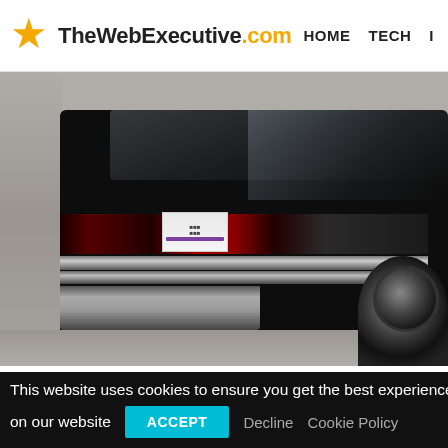TheWebExecutive.com   HOME   TECH   I...
[Figure (photo): Rear view of a glossy black classic car (likely a Buick Grand National) parked in a garage. The photo shows the trunk, taillights with chrome strips, rear bumper, a license plate, and the right rear wheel. The background shows a concrete wall.]
This website uses cookies to ensure you get the best experience on our website
ACCEPT   Decline   Cookie Policy